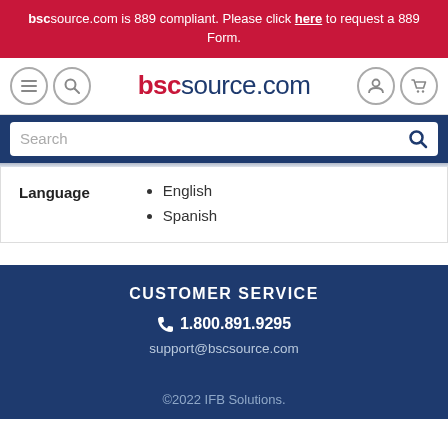bscsource.com is 889 compliant. Please click here to request a 889 Form.
[Figure (screenshot): Website header with bscsource.com logo, hamburger menu, search icon, user icon, and cart icon]
[Figure (screenshot): Search bar with placeholder text 'Search' and magnifying glass icon on dark blue background]
Language
English
Spanish
CUSTOMER SERVICE
1.800.891.9295
support@bscsource.com
©2022 IFB Solutions.